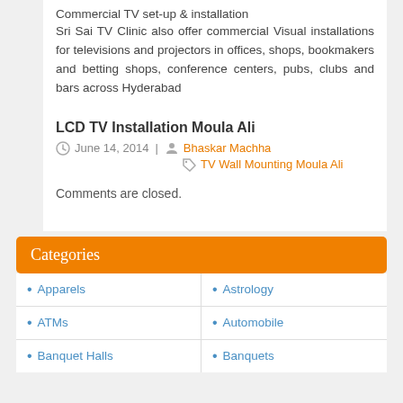Commercial TV set-up & installation
Sri Sai TV Clinic also offer commercial Visual installations for televisions and projectors in offices, shops, bookmakers and betting shops, conference centers, pubs, clubs and bars across Hyderabad
LCD TV Installation Moula Ali
June 14, 2014 | Bhaskar Machha
TV Wall Mounting Moula Ali
Comments are closed.
Categories
Apparels
Astrology
ATMs
Automobile
Banquet Halls
Banquets